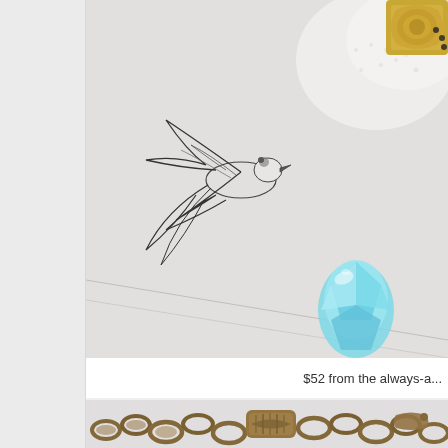[Figure (photo): Close-up photo of jewelry items on a light gray surface: a bird/swallow illustration on paper, a blue faceted gemstone pendant, gold ornamental pieces, and white lace fabric visible in upper right corner.]
$52 from the always-a...
[Figure (photo): Close-up photo of bronze/brass chain bracelet or jewelry with intricate metalwork links.]